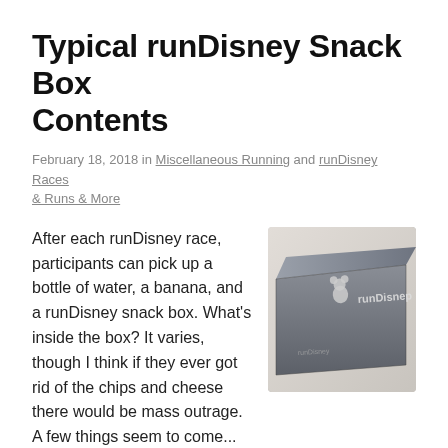Typical runDisney Snack Box Contents
February 18, 2018 in Miscellaneous Running and runDisney Races & Runs & More
After each runDisney race, participants can pick up a bottle of water, a banana, and a runDisney snack box. What's inside the box? It varies, though I think if they ever got rid of the chips and cheese there would be mass outrage. A few things seem to come...
[Figure (photo): A dark gray runDisney branded box with the runDisney logo (Mickey silhouette and text) visible on its surface, photographed at an angle on a light surface.]
Read More